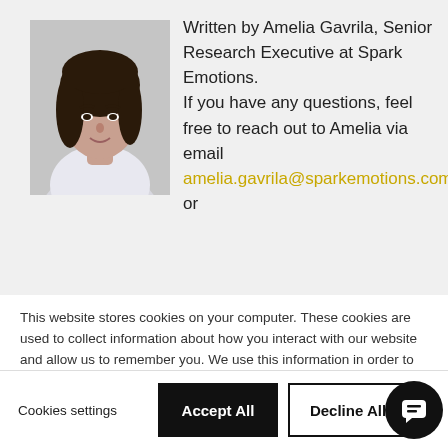[Figure (photo): Headshot photo of Amelia Gavrila, a woman with dark hair wearing a white top]
Written by Amelia Gavrila, Senior Research Executive at Spark Emotions. If you have any questions, feel free to reach out to Amelia via email amelia.gavrila@sparkemotions.com or
This website stores cookies on your computer. These cookies are used to collect information about how you interact with our website and allow us to remember you. We use this information in order to improve and customize your browsing experience and for analytics and metrics about our visitors both on this website and other media. To find out more about the cookies we use, see our Privacy Policy

If you decline, your information won't be tracked when you visit this website. A single cookie will be used in your browser to remember your preference not to be tracked.
Cookies settings
Accept All
Decline All